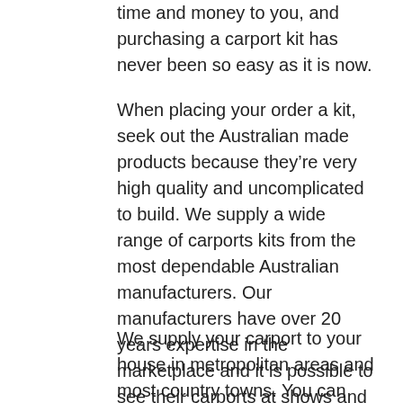time and money to you, and purchasing a carport kit has never been so easy as it is now.
When placing your order a kit, seek out the Australian made products because they're very high quality and uncomplicated to build. We supply a wide range of carports kits from the most dependable Australian manufacturers. Our manufacturers have over 20 years expertise in the marketplace and it is possible to see their carports at shows and properties all around the countryside.
We supply your carport to your house in metropolitan areas and most country towns. You can check out the specifics of your town by